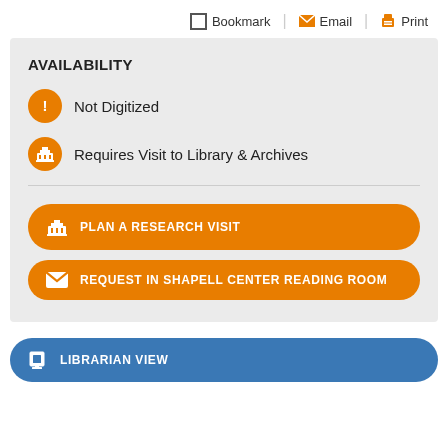Bookmark | Email | Print
AVAILABILITY
Not Digitized
Requires Visit to Library & Archives
PLAN A RESEARCH VISIT
REQUEST IN SHAPELL CENTER READING ROOM
LIBRARIAN VIEW